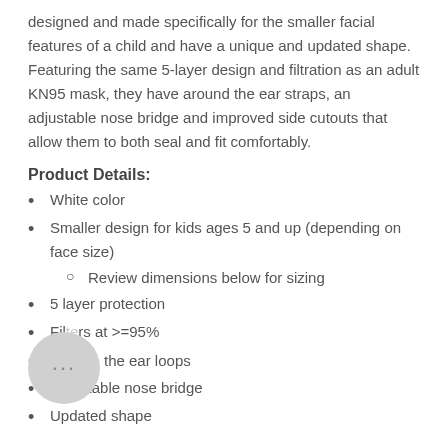designed and made specifically for the smaller facial features of a child and have a unique and updated shape. Featuring the same 5-layer design and filtration as an adult KN95 mask, they have around the ear straps, an adjustable nose bridge and improved side cutouts that allow them to both seal and fit comfortably.
Product Details:
White color
Smaller design for kids ages 5 and up (depending on face size)
Review dimensions below for sizing
5 layer protection
Filters at >=95%
the ear loops
Adjustable nose bridge
Updated shape